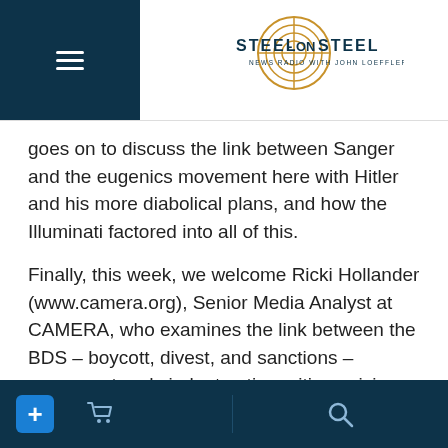Steel on Steel – News Radio with John Loeffler
goes on to discuss the link between Sanger and the eugenics movement here with Hitler and his more diabolical plans, and how the Illuminati factored into all of this.
Finally, this week, we welcome Ricki Hollander (www.camera.org), Senior Media Analyst at CAMERA, who examines the link between the BDS – boycott, divest, and sanctions – movement and virulent anti-semitism, giving examples of horrible insults hurled at Jews and Jewish students, both on and off campus.